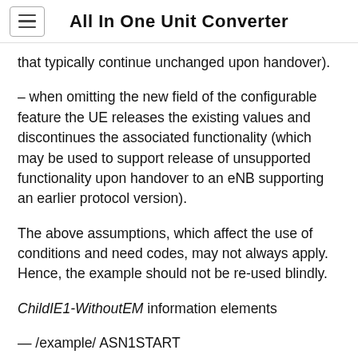All In One Unit Converter
that typically continue unchanged upon handover).
– when omitting the new field of the configurable feature the UE releases the existing values and discontinues the associated functionality (which may be used to support release of unsupported functionality upon handover to an eNB supporting an earlier protocol version).
The above assumptions, which affect the use of conditions and need codes, may not always apply. Hence, the example should not be re-used blindly.
ChildIE1-WithoutEM information elements
— /example/ ASN1START